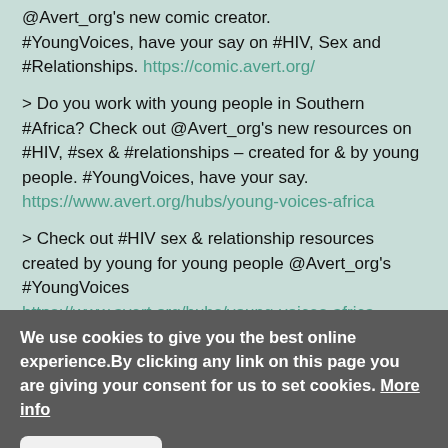@Avert_org's new comic creator. #YoungVoices, have your say on #HIV, Sex and #Relationships. https://comic.avert.org/
> Do you work with young people in Southern #Africa? Check out @Avert_org's new resources on #HIV, #sex & #relationships – created for & by young people. #YoungVoices, have your say. https://www.avert.org/hubs/young-voices-africa
> Check out #HIV sex & relationship resources created by young for young people @Avert_org's #YoungVoices https://www.avert.org/hubs/young-voices-africa
> Young people get to have their say on #HIV sex and relationships @Avert_org's #YoungVoices hub
We use cookies to give you the best online experience.By clicking any link on this page you are giving your consent for us to set cookies. More info
Yes, I agree